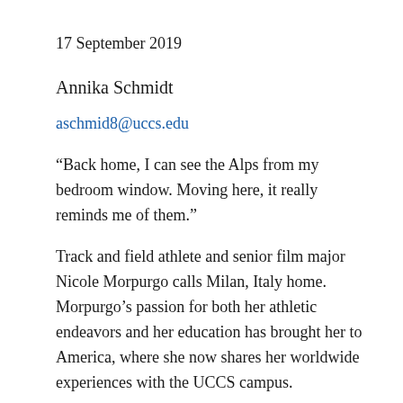17 September 2019
Annika Schmidt
aschmid8@uccs.edu
“Back home, I can see the Alps from my bedroom window. Moving here, it really reminds me of them.”
Track and field athlete and senior film major Nicole Morpurgo calls Milan, Italy home. Morpurgo’s passion for both her athletic endeavors and her education has brought her to America, where she now shares her worldwide experiences with the UCCS campus.
“We have good film schools in Italy too, but most